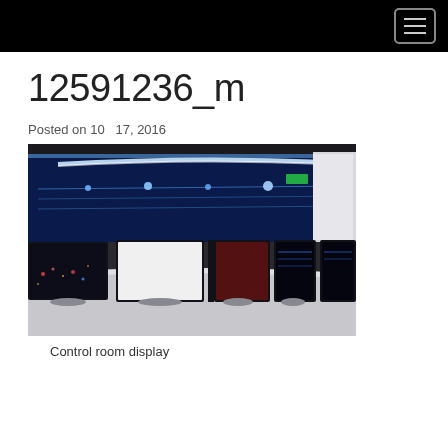12591236_m
Posted on 10   17, 2016
[Figure (photo): Control room with a large curved wall display showing blue technical diagrams/maps, and multiple monitors on a curved desk in the foreground.]
Control room display